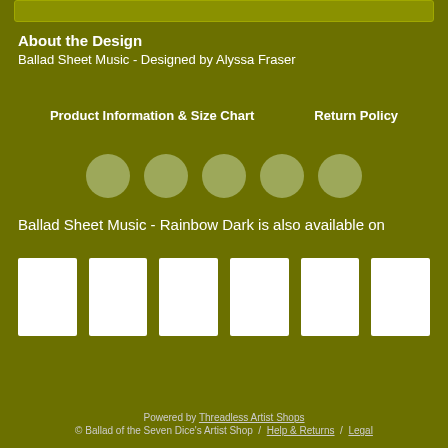[Figure (other): Top bar / image area placeholder]
About the Design
Ballad Sheet Music - Designed by Alyssa Fraser
Product Information & Size Chart    Return Policy
[Figure (other): Five circular color swatches in muted olive/cream tones]
Ballad Sheet Music - Rainbow Dark is also available on
[Figure (other): Six white product thumbnail images in a row]
Powered by Threadless Artist Shops
© Ballad of the Seven Dice's Artist Shop  /  Help & Returns  /  Legal